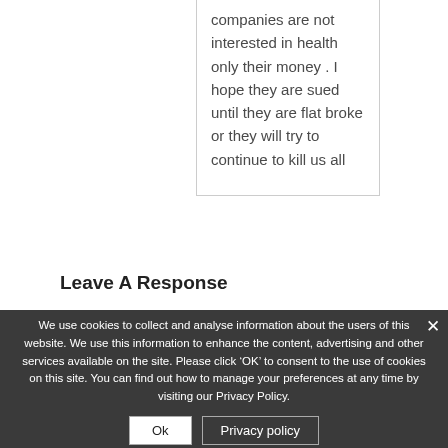companies are not interested in health only their money . I hope they are sued until they are flat broke or they will try to continue to kill us all
Leave A Response
We use cookies to collect and analyse information about the users of this website. We use this information to enhance the content, advertising and other services available on the site. Please click ‘OK’ to consent to the use of cookies on this site. You can find out how to manage your preferences at any time by visiting our Privacy Policy.